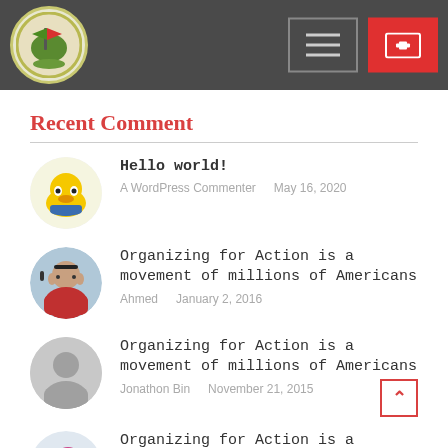Navigation header with logo, menu button, and red button
Recent Comment
Hello world! — A WordPress Commenter, May 16, 2020
Organizing for Action is a movement of millions of Americans — Ahmed, January 2, 2016
Organizing for Action is a movement of millions of Americans — Jonathon Bin, November 21, 2015
Organizing for Action is a movement of millions of (partial)